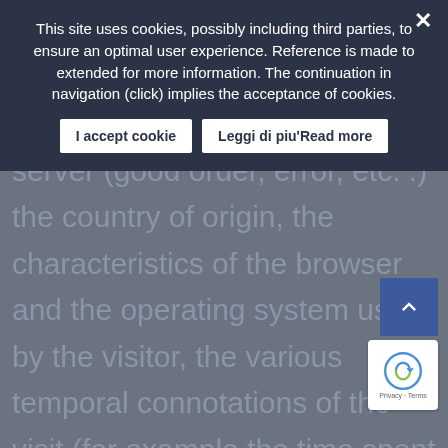This site uses cookies, possibly including third parties, to ensure an optimal user experience. Reference is made to extended for more information. The continuation in navigation (click) implies the acceptance of cookies.
I accept cookie | Leggi di piu'Read more
obtained in response, the numerical code indicating the status of the response from the server (good order, error, etc. .) the country of origin, the characteristics of the browser and the operating system used by the visitor, the various temporal connotations of the visit (for example the time spent each page) and the details relating to the itinerary followed within the Application, with particular reference to